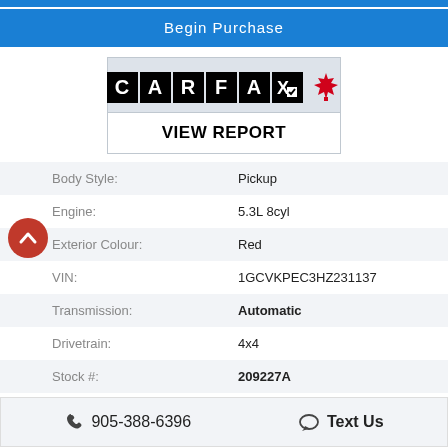Begin Purchase
[Figure (logo): CARFAX Canada logo with maple leaf and VIEW REPORT button]
| Field | Value |
| --- | --- |
| Body Style: | Pickup |
| Engine: | 5.3L 8cyl |
| Exterior Colour: | Red |
| VIN: | 1GCVKPEC3HZ231137 |
| Transmission: | Automatic |
| Drivetrain: | 4x4 |
| Stock #: | 209227A |
905-388-6396   Text Us
| One Owner, 6-Speed Automatic Electronic with Overdrive, 4WD, 150 Amp Alternator, 20" x 9" Chrome Clad Aluminum Wheels, 3.42 Rear Axle Ratio, 3-